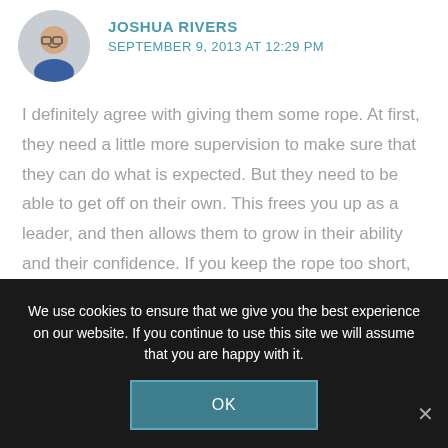[Figure (photo): Circular avatar photo of a smiling man wearing glasses and a blue shirt]
JOSHUA RIVERS
SEPTEMBER 9, 2013 AT 12:29 PM
I definitely agree with giving them some rope. At first, they need a little more supervision to make sure that they can do what is expected. But they need to be able to get off on their own. This frees you up as a leader, and then allows them to grow in their ability and their confidence. If you keep the rope too short, they'll never have the confidence
We use cookies to ensure that we give you the best experience on our website. If you continue to use this site we will assume that you are happy with it.
OK